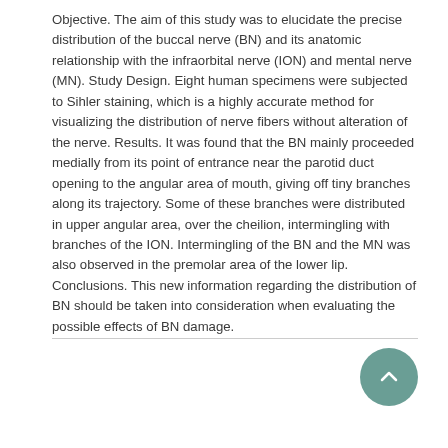Objective. The aim of this study was to elucidate the precise distribution of the buccal nerve (BN) and its anatomic relationship with the infraorbital nerve (ION) and mental nerve (MN). Study Design. Eight human specimens were subjected to Sihler staining, which is a highly accurate method for visualizing the distribution of nerve fibers without alteration of the nerve. Results. It was found that the BN mainly proceeded medially from its point of entrance near the parotid duct opening to the angular area of mouth, giving off tiny branches along its trajectory. Some of these branches were distributed in upper angular area, over the cheilion, intermingling with branches of the ION. Intermingling of the BN and the MN was also observed in the premolar area of the lower lip. Conclusions. This new information regarding the distribution of BN should be taken into consideration when evaluating the possible effects of BN damage.
| Original language |  |
| --- | --- |
| English |  |
| Pages (from-to) |  |